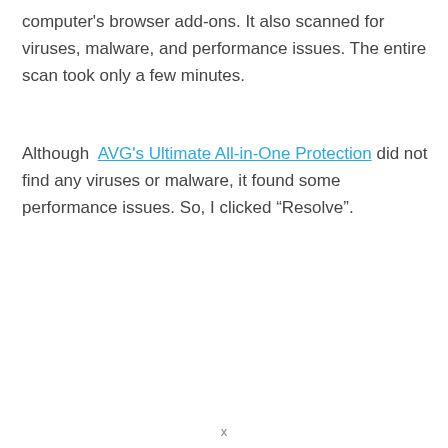computer's browser add-ons. It also scanned for viruses, malware, and performance issues. The entire scan took only a few minutes.
Although AVG's Ultimate All-in-One Protection did not find any viruses or malware, it found some performance issues. So, I clicked “Resolve”.
x